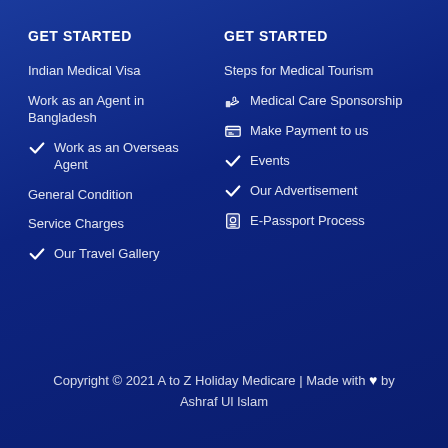GET STARTED
Indian Medical Visa
Work as an Agent in Bangladesh
✓ Work as an Overseas Agent
General Condition
Service Charges
✓ Our Travel Gallery
GET STARTED
Steps for Medical Tourism
Medical Care Sponsorship
Make Payment to us
✓ Events
✓ Our Advertisement
E-Passport Process
Copyright © 2021 A to Z Holiday Medicare | Made with ♥ by Ashraf Ul Islam